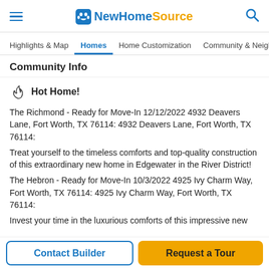NewHomeSource
Highlights & Map | Homes | Home Customization | Community & Neigh...
Community Info
Hot Home!
The Richmond - Ready for Move-In 12/12/2022 4932 Deavers Lane, Fort Worth, TX 76114: 4932 Deavers Lane, Fort Worth, TX 76114:
Treat yourself to the timeless comforts and top-quality construction of this extraordinary new home in Edgewater in the River District!
The Hebron - Ready for Move-In 10/3/2022 4925 Ivy Charm Way, Fort Worth, TX 76114: 4925 Ivy Charm Way, Fort Worth, TX 76114:
Invest your time in the luxurious comforts of this impressive new
Contact Builder
Request a Tour